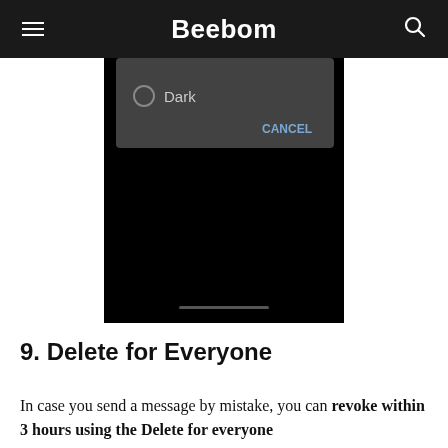Beebom
[Figure (screenshot): A mobile phone screenshot showing a dark-themed dialog with 'Dark' option and a CANCEL button, below which is a black screen area.]
9. Delete for Everyone
In case you send a message by mistake, you can revoke within 3 hours using the Delete for everyone